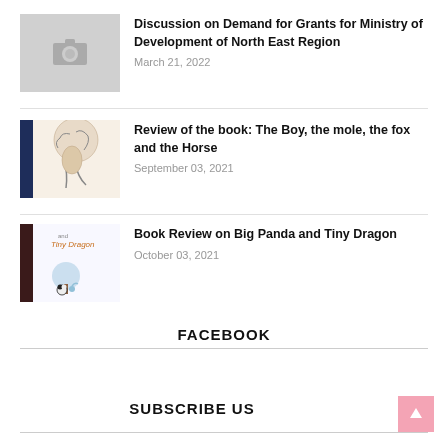[Figure (other): Placeholder camera icon thumbnail for first article]
Discussion on Demand for Grants for Ministry of Development of North East Region
March 21, 2022
[Figure (illustration): Book cover thumbnail: The Boy, the mole, the fox and the Horse with dark navy stripe on left]
Review of the book: The Boy, the mole, the fox and the Horse
September 03, 2021
[Figure (illustration): Book cover thumbnail: Big Panda and Tiny Dragon with dark brown stripe on left]
Book Review on Big Panda and Tiny Dragon
October 03, 2021
FACEBOOK
SUBSCRIBE US